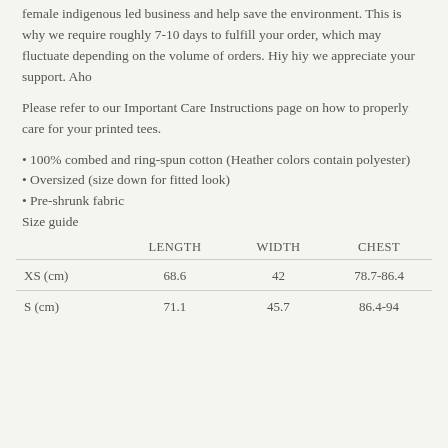female indigenous led business and help save the environment. This is why we require roughly 7-10 days to fulfill your order, which may fluctuate depending on the volume of orders. Hiy hiy we appreciate your support. Aho
Please refer to our Important Care Instructions page on how to properly care for your printed tees.
• 100% combed and ring-spun cotton (Heather colors contain polyester)
• Oversized (size down for fitted look)
• Pre-shrunk fabric
Size guide
|  | LENGTH | WIDTH | CHEST |
| --- | --- | --- | --- |
| XS (cm) | 68.6 | 42 | 78.7-86.4 |
| S (cm) | 71.1 | 45.7 | 86.4-94 |